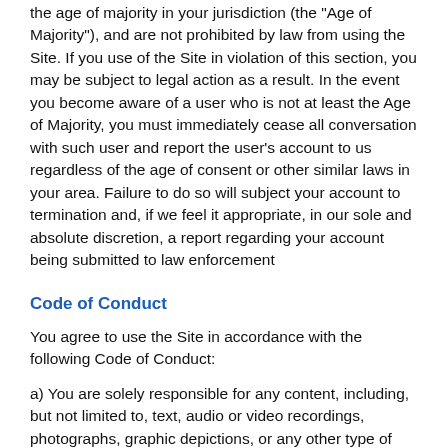the age of majority in your jurisdiction (the "Age of Majority"), and are not prohibited by law from using the Site. If you use of the Site in violation of this section, you may be subject to legal action as a result. In the event you become aware of a user who is not at least the Age of Majority, you must immediately cease all conversation with such user and report the user's account to us regardless of the age of consent or other similar laws in your area. Failure to do so will subject your account to termination and, if we feel it appropriate, in our sole and absolute discretion, a report regarding your account being submitted to law enforcement
Code of Conduct
You agree to use the Site in accordance with the following Code of Conduct:
a) You are solely responsible for any content, including, but not limited to, text, audio or video recordings, photographs, graphic depictions, or any other type of material, data or information (collectively, the "Content") that you post on the Site or display to other members of the Site. You will keep all Content provided to you through the Site private and confidential and will not disclose such Content to anyone without the permission of the person who provided it to you;
b) You are aware that the Site may contain explicit adult oriented materials provided only by consenting users;
c) You will not use the Site to engage in any form of harassment or offensive behavior, including, but not limited to, the posting of any Content that contains sexual conduct (whether actual or simulated); libelous, slanderous, defamatory, fraudulent, or racist content, or anything...